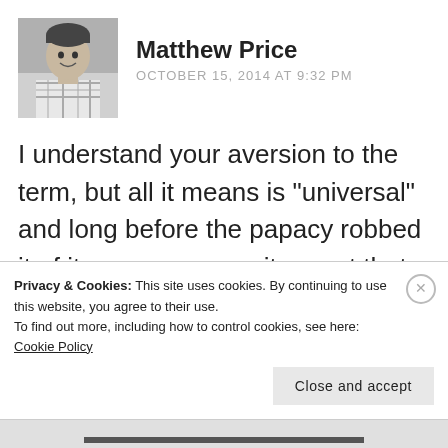[Figure (photo): Black and white portrait photo of Matthew Price, a man smiling, wearing a plaid shirt]
Matthew Price
OCTOBER 15, 2014 AT 9:32 PM
I understand your aversion to the term, but all it means is “universal” and long before the papacy robbed it of its common use, it meant that you were a part of the true Church as
Privacy & Cookies: This site uses cookies. By continuing to use this website, you agree to their use.
To find out more, including how to control cookies, see here:
Cookie Policy
Close and accept